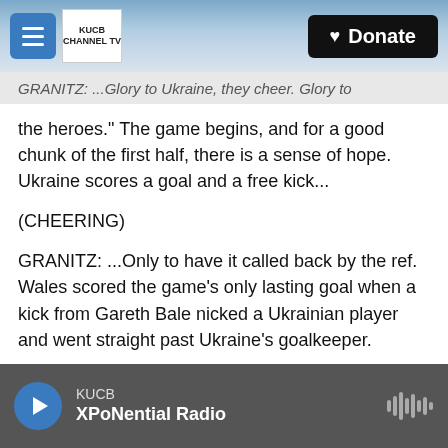KUCB | Donate
GRANITZ: ...Glory to Ukraine, they cheer. Glory to the heroes." The game begins, and for a good chunk of the first half, there is a sense of hope. Ukraine scores a goal and a free kick...
(CHEERING)
GRANITZ: ...Only to have it called back by the ref. Wales scored the game's only lasting goal when a kick from Gareth Bale nicked a Ukrainian player and went straight past Ukraine's goalkeeper.
(SOUNDBITE OF HAND SLAMMING ON BAR)
KUCB XPoNential Radio